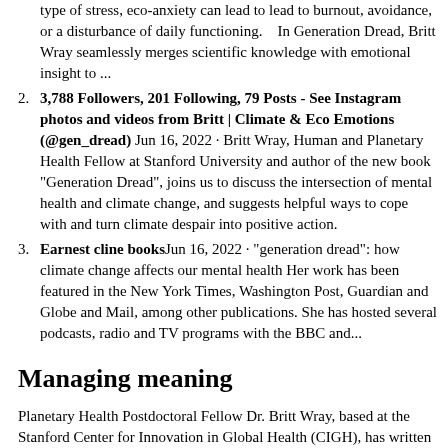type of stress, eco-anxiety can lead to lead to burnout, avoidance, or a disturbance of daily functioning.    In Generation Dread, Britt Wray seamlessly merges scientific knowledge with emotional insight to ...
3,788 Followers, 201 Following, 79 Posts - See Instagram photos and videos from Britt | Climate & Eco Emotions (@gen_dread) Jun 16, 2022 · Britt Wray, Human and Planetary Health Fellow at Stanford University and author of the new book “Generation Dread”, joins us to discuss the intersection of mental health and climate change, and suggests helpful ways to cope with and turn climate despair into positive action.
Earnest cline booksJun 16, 2022 · “generation dread”: how climate change affects our mental health Her work has been featured in the New York Times, Washington Post, Guardian and Globe and Mail, among other publications. She has hosted several podcasts, radio and TV programs with the BBC and...
Managing meaning
Planetary Health Postdoctoral Fellow Dr. Britt Wray, based at the Stanford Center for Innovation in Global Health (CIGH), has written a forthcoming book focusing on these challenges,